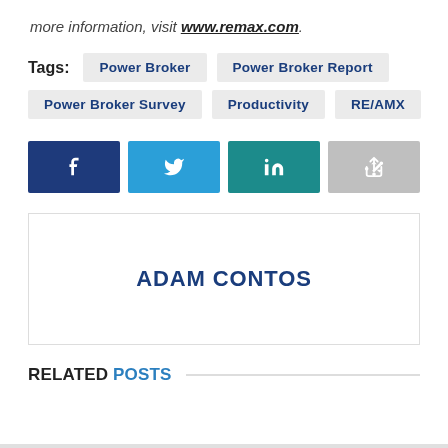more information, visit www.remax.com.
Tags: Power Broker  Power Broker Report  Power Broker Survey  Productivity  RE/AMX
[Figure (other): Social share buttons: Facebook (dark blue), Twitter (blue), LinkedIn (teal), Share (gray)]
ADAM CONTOS
RELATED POSTS